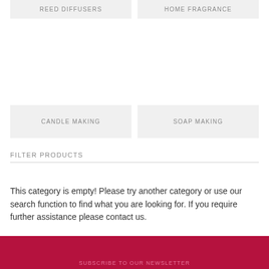REED DIFFUSERS
HOME FRAGRANCE
CANDLE MAKING
SOAP MAKING
FILTER PRODUCTS
This category is empty! Please try another category or use our search function to find what you are looking for. If you require further assistance please contact us.
SUBSCRIBE TO OUR NEWSLETTER